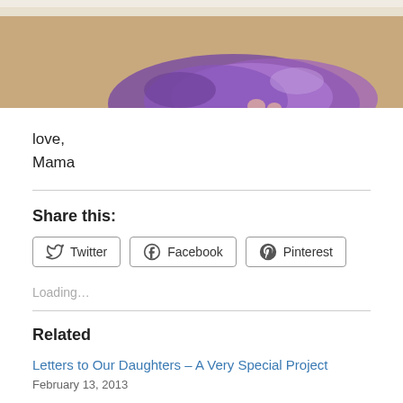[Figure (photo): Partial photo showing a child in a purple tulle/feather skirt on a beige carpet floor, cropped at top]
love,
Mama
Share this:
Twitter  Facebook  Pinterest
Loading...
Related
Letters to Our Daughters – A Very Special Project
February 13, 2013